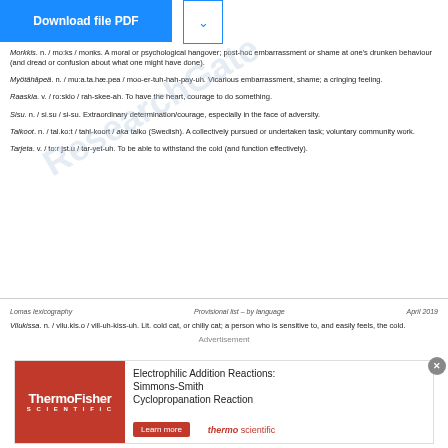[Figure (other): Blue download PDF button and dropdown arrow button]
Morkkis. n. / mo:ks / monks. A moral or psychological hangover; post-hoc embarrassment or shame at one's drunken behaviour (and dread or confusion about what one might have done).
Myötähäpeä. n. / mu:a.ta.hæ.pea / moo-er-tuh-hah-pay-uh. Vicarious embarrassment, shame; a cringing feeling.
Raaskia. v. / ro:skio / rah-skee-ah. To have the heart, courage to do something.
Sisu. n. / si.su / si-su. Extraordinary determination/courage, especially in the face of adversity.
Talkoot. n. / tal.ko:t / tahl-koort / aka talko (Swedish). A collectively pursued or undertaken task; voluntary community work.
Tarjeta. v. / to:r jst.u / tar-yet-uh. To be able to withstand the cold (and function effectively).
Lomas lexicography    Provisional list – by language    April 2019
Vilukissa. n. / vilu.kis.o / vill-uh-kiss-uh. Lit. cold cat, or chilly cat; a person who is sensitive to, and easily feels, the cold.
Advertisement
[Figure (other): ThermoFisher Scientific advertisement for Electrophilic Addition Reactions: Simmons-Smith Cyclopropanation Reaction with Learn more button and thermo scientific logo]